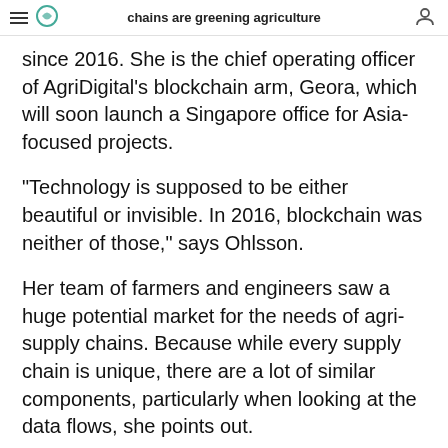chains are greening agriculture
since 2016. She is the chief operating officer of AgriDigital's blockchain arm, Geora, which will soon launch a Singapore office for Asia-focused projects.
“Technology is supposed to be either beautiful or invisible. In 2016, blockchain was neither of those,” says Ohlsson.
Her team of farmers and engineers saw a huge potential market for the needs of agri-supply chains. Because while every supply chain is unique, there are a lot of similar components, particularly when looking at the data flows, she points out.
Bulk commodities like grains come with a unique set of logistical and economic challenges. A tonne of wheat can pass through many hands, and its characteristics may change over time. Growers, even after the product